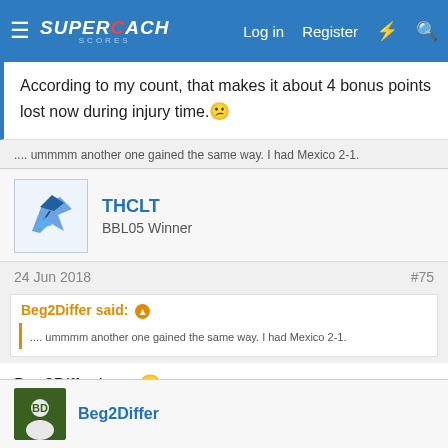SUPERCOACH SCORES — Log in  Register
According to my count, that makes it about 4 bonus points lost now during injury time. :(
.... ummmm another one gained the same way. I had Mexico 2-1.
THCLT — BBL05 Winner
24 Jun 2018  #75
Beg2Differ said: ↑  .... ummmm another one gained the same way. I had Mexico 2-1.
Beg2Differ hey... 😛
This comp has really enriched my WC experience.
Beg2Differ